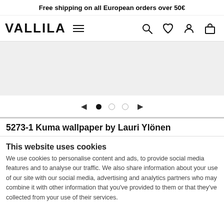Free shipping on all European orders over 50€
[Figure (logo): VALLILA logo with hamburger menu and navigation icons (search, wishlist, account, cart)]
[Figure (photo): Product image area - light grey placeholder for wallpaper product image]
[Figure (other): Carousel navigation with left arrow, one filled dot and two empty dots, and right arrow]
5273-1 Kuma wallpaper by Lauri Ylönen
This website uses cookies
We use cookies to personalise content and ads, to provide social media features and to analyse our traffic. We also share information about your use of our site with our social media, advertising and analytics partners who may combine it with other information that you've provided to them or that they've collected from your use of their services.